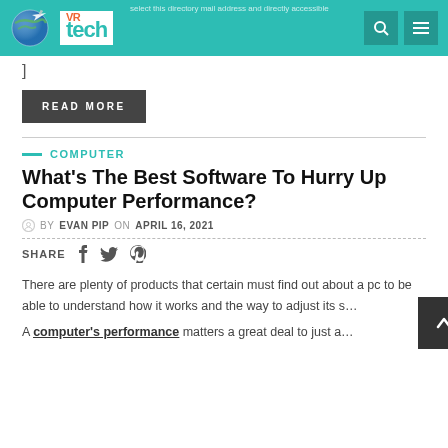VR tech
]
READ MORE
COMPUTER
What's The Best Software To Hurry Up Computer Performance?
by EVAN PIP on APRIL 16, 2021
SHARE
There are plenty of products that certain must find out about a pc to be able to understand how it works and the way to adjust its s… A computer's performance matters a great deal to just a…